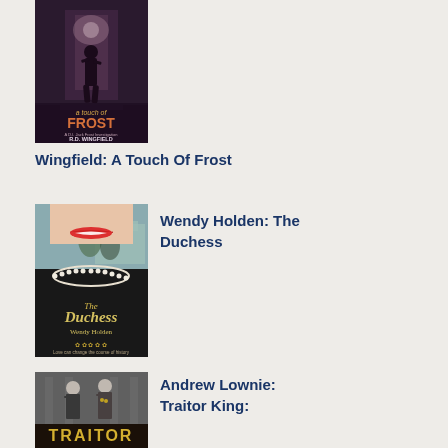[Figure (photo): Book cover of 'A Touch of Frost' by R.D. Wingfield - dark moody image of a silhouette in a corridor, with orange title text and author name at bottom]
Wingfield: A Touch Of Frost
[Figure (photo): Book cover of 'The Duchess' by Wendy Holden - shows a woman smiling with red lipstick, black dress with pearl collar, castle in background, golden floral decorations at bottom]
Wendy Holden: The Duchess
[Figure (photo): Book cover of 'Traitor King' by Andrew Lownie - black and white photo of two people, with golden 'TRAITOR' text at bottom]
Andrew Lownie: Traitor King: